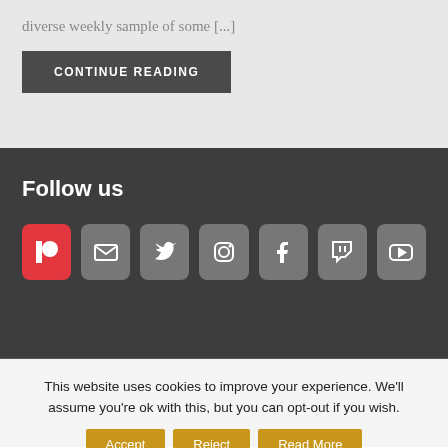diverse weekly sample of some [...]
CONTINUE READING
Follow us
[Figure (infographic): Row of social media icons: Patreon (red), Email (gray), Twitter (gray), Instagram (gray), Facebook (gray), Twitch (gray), YouTube (gray)]
This website uses cookies to improve your experience. We'll assume you're ok with this, but you can opt-out if you wish.
Accept | Reject | Read More